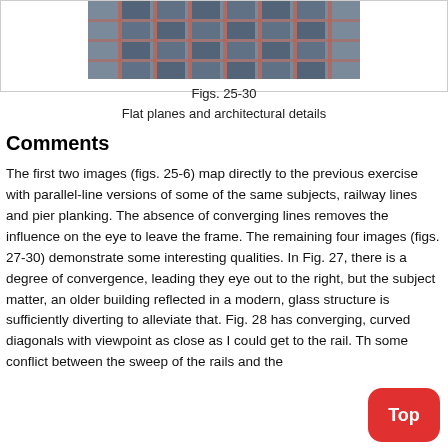[Figure (photo): Partial view of a modern glass building with grid-like facade showing reflections, cropped at top]
Figs. 25-30
Flat planes and architectural details
Comments
The first two images (figs. 25-6) map directly to the previous exercise with parallel-line versions of some of the same subjects, railway lines and pier planking. The absence of converging lines removes the influence on the eye to leave the frame. The remaining four images (figs. 27-30) demonstrate some interesting qualities. In Fig. 27, there is a degree of convergence, leading they eye out to the right, but the subject matter, an older building reflected in a modern, glass structure is sufficiently diverting to alleviate that. Fig. 28 has converging, curved diagonals with viewpoint as close as I could get to the rail. There is some conflict between the sweep of the rails and the